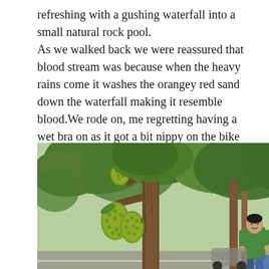refreshing with a gushing waterfall into a small natural rock pool. As we walked back we were reassured that blood stream was because when the heavy rains come it washes the orangey red sand down the waterfall making it resemble blood.We rode on, me regretting having a wet bra on as it got a bit nippy on the bike and it later meant wearing a bikini to dinner later.
[Figure (photo): A tree with large jackfruits hanging from its trunk and branches. A man wearing a green shirt stands beside the tree near a road, with dense green foliage visible in the background.]